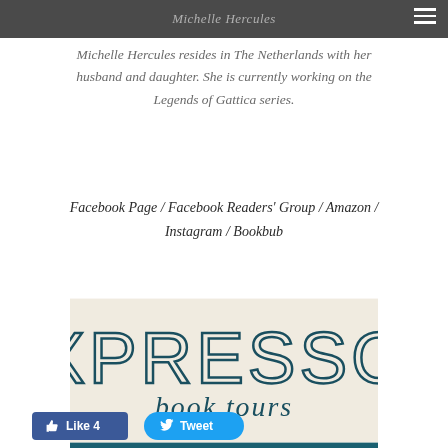Michelle Hercules
Michelle Hercules resides in The Netherlands with her husband and daughter. She is currently working on the Legends of Gattica series.
Facebook Page / Facebook Readers' Group / Amazon / Instagram / Bookbub
[Figure (logo): Xpresso Book Tours logo with decorative script text and website www.xpressobooktours.com on a teal banner]
[Figure (other): Social media buttons: Like 4 (Facebook) and Tweet (Twitter)]